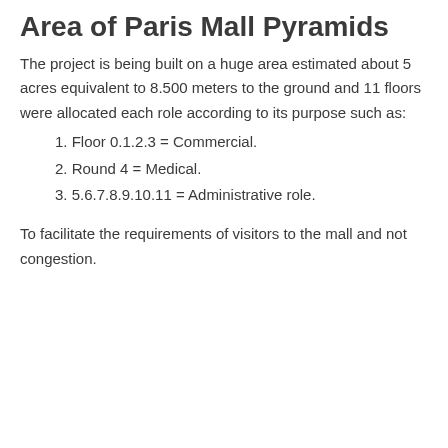Area of Paris Mall Pyramids
The project is being built on a huge area estimated about 5 acres equivalent to 8.500 meters to the ground and 11 floors were allocated each role according to its purpose such as:
1. Floor 0.1.2.3 = Commercial.
2. Round 4 = Medical.
3. 5.6.7.8.9.10.11 = Administrative role.
To facilitate the requirements of visitors to the mall and not congestion.